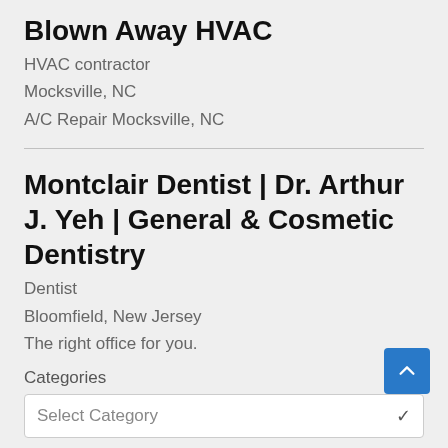Blown Away HVAC
HVAC contractor
Mocksville, NC
A/C Repair Mocksville, NC
Montclair Dentist | Dr. Arthur J. Yeh | General & Cosmetic Dentistry
Dentist
Bloomfield, New Jersey
The right office for you.
Categories
Select Category